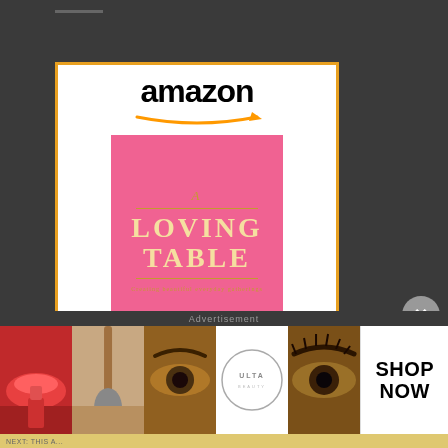[Figure (screenshot): Amazon advertisement for 'A Loving Table: Creating...' book priced at $41.49 with Prime badge, showing pink book cover, Amazon logo, and Shop now button with orange gradient background]
[Figure (screenshot): Partial second Amazon advertisement showing Amazon logo at bottom of page]
[Figure (screenshot): Ulta Beauty banner advertisement showing cosmetic product images (lips with brush, eye makeup) and Ulta logo with SHOP NOW call to action]